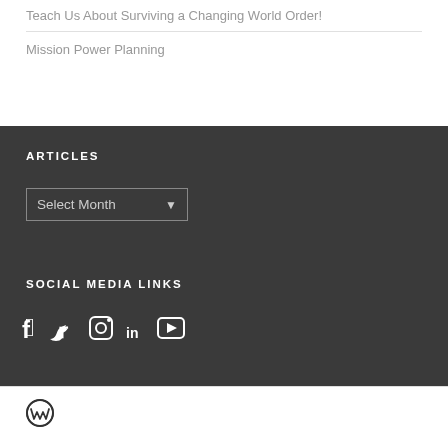Teach Us About Surviving a Changing World Order!
Mission Power Planning
ARTICLES
Select Month
SOCIAL MEDIA LINKS
[Figure (illustration): Social media icons: Facebook, Twitter, Instagram, LinkedIn, YouTube]
WordPress logo icon